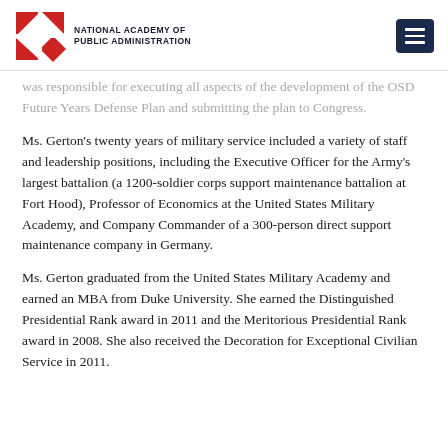National Academy of Public Administration
was responsible for executing all aspects of the development of the OSD Future Years Defense Plan and submitting the plan to Congress.
Ms. Gerton's twenty years of military service included a variety of staff and leadership positions, including the Executive Officer for the Army's largest battalion (a 1200-soldier corps support maintenance battalion at Fort Hood), Professor of Economics at the United States Military Academy, and Company Commander of a 300-person direct support maintenance company in Germany.
Ms. Gerton graduated from the United States Military Academy and earned an MBA from Duke University. She earned the Distinguished Presidential Rank award in 2011 and the Meritorious Presidential Rank award in 2008. She also received the Decoration for Exceptional Civilian Service in 2011.